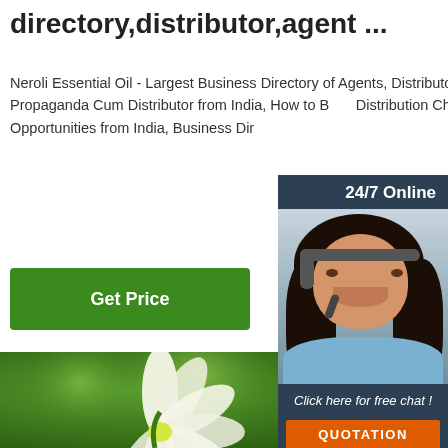directory,distributor,agent ...
Neroli Essential Oil - Largest Business Directory of Agents, Distributors, PCD, Franchise, Dealers, Stockists, Retailers, Propaganda Cum Distributor from India, How to Build Distribution Channel Across India, Agency,Distributor, Franchise Opportunities from India, Business Dir
[Figure (other): Green button labeled 'Get Price']
[Figure (other): Customer service chat widget with 24/7 Online label, woman with headset, 'Click here for free chat!' text, and orange QUOTATION button]
[Figure (photo): White lotus/neroli flowers with green bokeh background, TOP logo overlay in bottom right]